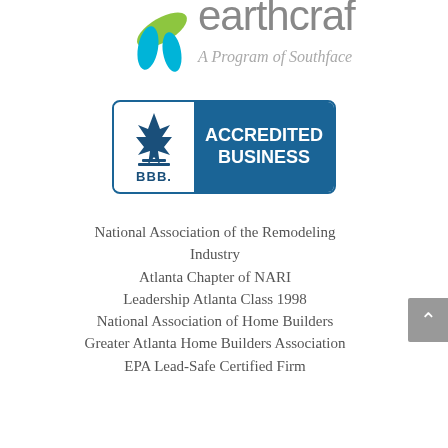[Figure (logo): EarthCraft logo - A Program of Southface, partially visible at top]
[Figure (logo): BBB Accredited Business badge with blue right panel]
National Association of the Remodeling Industry
Atlanta Chapter of NARI
Leadership Atlanta Class 1998
National Association of Home Builders
Greater Atlanta Home Builders Association
EPA Lead-Safe Certified Firm